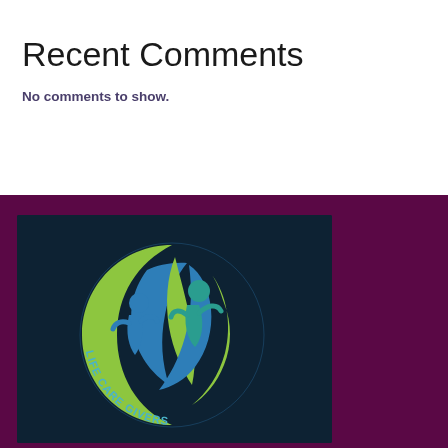Recent Comments
No comments to show.
[Figure (logo): Life Care Givers logo: circular dark navy background with green and blue stylized figures/leaves forming a flame shape, with 'LIFE CARE GIVERS' text arcing around the circle]